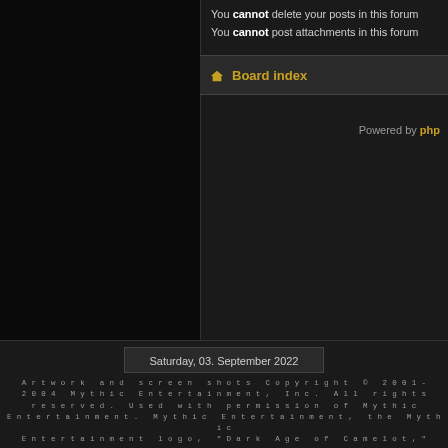You cannot delete your posts in this forum
You cannot post attachments in this forum
Board index
Powered by php
Saturday, 03. September 2022
Artwork and screen shots Copyright © 2001-2004 Mythic Entertainment, Inc. All rights reserved. Used with permission of Mythic Entertainment. Mythic Entertainment, the Mythic Entertainment logo, "Dark Age of Camelot," "Shrouded Isles," "Foundations," "New Frontiers," "Trials of Atlantis," "Catacombs," "Darkness Rising," the Dark Age of Camelot and subsequent logos, and the stylized Celtic knot are trademarks of Mythic Entertainment, Inc. Valid XHTML & CSS | Original Design by: LernVid.com | Modified by Uthgard Staff